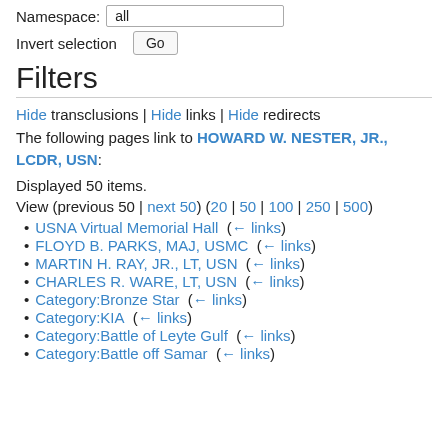Namespace: all
Invert selection  Go
Filters
Hide transclusions | Hide links | Hide redirects
The following pages link to HOWARD W. NESTER, JR., LCDR, USN:
Displayed 50 items.
View (previous 50 | next 50) (20 | 50 | 100 | 250 | 500)
USNA Virtual Memorial Hall  (← links)
FLOYD B. PARKS, MAJ, USMC  (← links)
MARTIN H. RAY, JR., LT, USN  (← links)
CHARLES R. WARE, LT, USN  (← links)
Category:Bronze Star  (← links)
Category:KIA  (← links)
Category:Battle of Leyte Gulf  (← links)
Category:Battle off Samar  (← links)